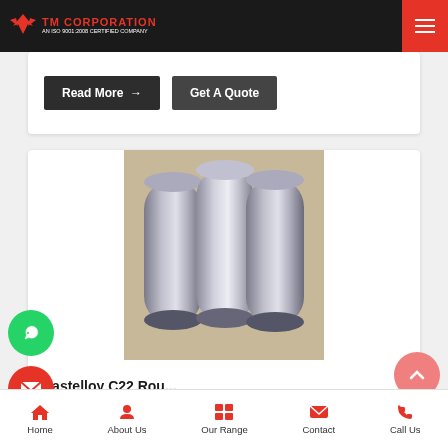TM Corporation - AN ISO 9001:2008 CERTIFIED COMPANY
...labns that produce these bars using gre... quality materials and...
Read More → | Get A Quote
[Figure (photo): Three cylindrical Hastelloy C22 round bars made of shiny silver-gray metal, standing upright and leaning against each other]
Hastelloy C22 Rou...
Home | About Us | Our Range | Contact | Call Us